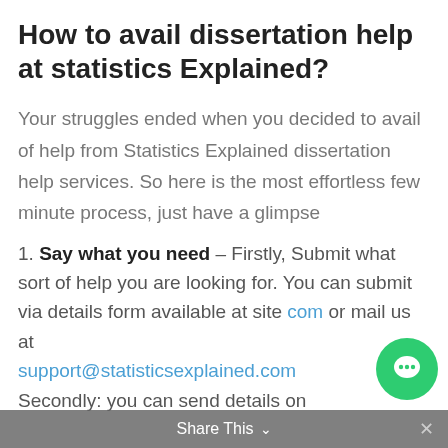How to avail dissertation help at statistics Explained?
Your struggles ended when you decided to avail of help from Statistics Explained dissertation help services. So here is the most effortless few minute process, just have a glimpse
1. Say what you need – Firstly, Submit what sort of help you are looking for. You can submit via details form available at site com or mail us at support@statisticsexplained.com Secondly: you can send details on